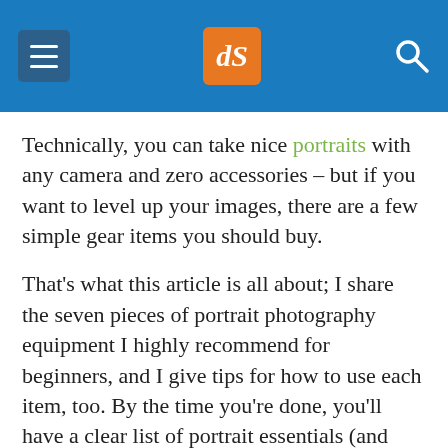dPS navigation header
Technically, you can take nice portraits with any camera and zero accessories – but if you want to level up your images, there are a few simple gear items you should buy.
That's what this article is all about; I share the seven pieces of portrait photography equipment I highly recommend for beginners, and I give tips for how to use each item, too. By the time you're done, you'll have a clear list of portrait essentials (and you'll be ready to nail your next portrait photoshoot!)